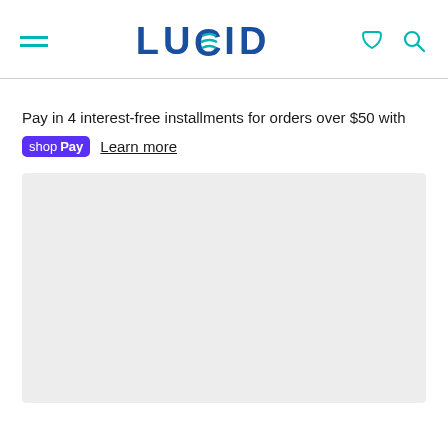LUCID — navigation header with hamburger menu, logo, cart and search icons
Pay in 4 interest-free installments for orders over $50 with shop Pay Learn more
[Figure (other): Gray placeholder content box]